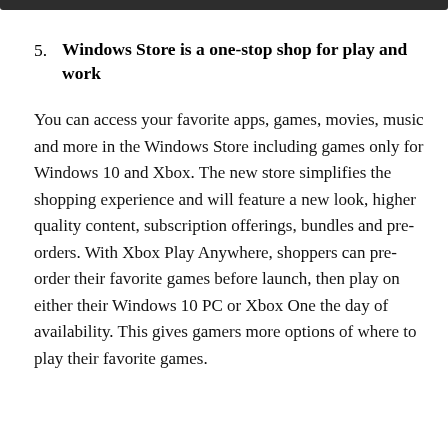5. Windows Store is a one-stop shop for play and work
You can access your favorite apps, games, movies, music and more in the Windows Store including games only for Windows 10 and Xbox. The new store simplifies the shopping experience and will feature a new look, higher quality content, subscription offerings, bundles and pre-orders. With Xbox Play Anywhere, shoppers can pre-order their favorite games before launch, then play on either their Windows 10 PC or Xbox One the day of availability. This gives gamers more options of where to play their favorite games.